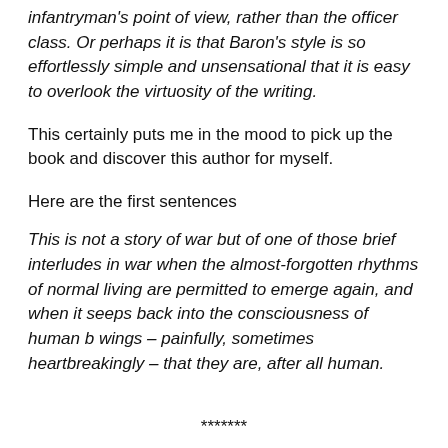infantryman's point of view, rather than the officer class. Or perhaps it is that Baron's style is so effortlessly simple and unsensational that it is easy to overlook the virtuosity of the writing.
This certainly puts me in the mood to pick up the book and discover this author for myself.
Here are the first sentences
This is not a story of war but of one of those brief interludes in war when the almost-forgotten rhythms of normal living are permitted to emerge again, and when it seeps back into the consciousness of human b wings – painfully, sometimes heartbreakingly – that they are, after all human.
*******